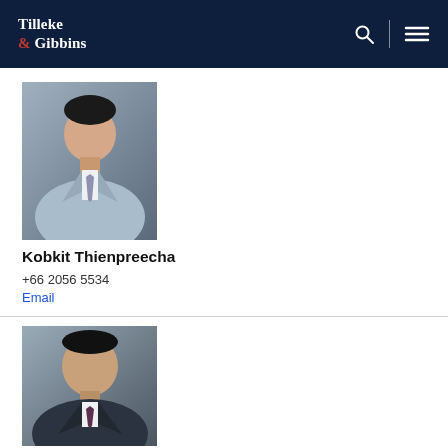Tilleke & Gibbins
[Figure (photo): Professional headshot of Kobkit Thienpreecha, man in light blue suit with striped tie, grey background]
Kobkit Thienpreecha
+66 2056 5534
Email
[Figure (photo): Professional headshot of a second person, man in dark suit with tie, grey background]